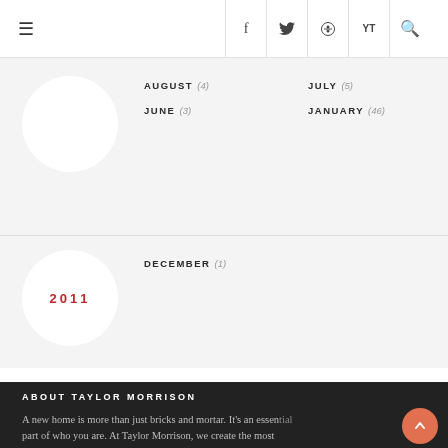Navigation bar with hamburger menu and social icons (Facebook, Twitter, Pinterest, YouTube, Search)
AUGUST (4)
JULY (5)
JUNE (3)
JANUARY (46)
DECEMBER (1)
2011
ABOUT TAYLOR MORRISON
A new home is more than just bricks and mortar. It's an essential part of who you are. At Taylor Morrison, we create the most exciting new homes imaginable, set them in vibrant neighborhoods,